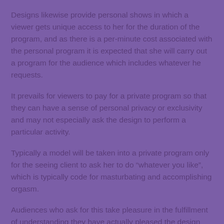Designs likewise provide personal shows in which a viewer gets unique access to her for the duration of the program, and as there is a per-minute cost associated with the personal program it is expected that she will carry out a program for the audience which includes whatever he requests.
It prevails for viewers to pay for a private program so that they can have a sense of personal privacy or exclusivity and may not especially ask the design to perform a particular activity.
Typically a model will be taken into a private program only for the seeing client to ask her to do “whatever you like”, which is typically code for masturbating and accomplishing orgasm.
Audiences who ask for this take pleasure in the fulfillment of understanding they have actually pleased the design and that she has cum due to the fact that of what they have actually done, in this case spent for a personal program.